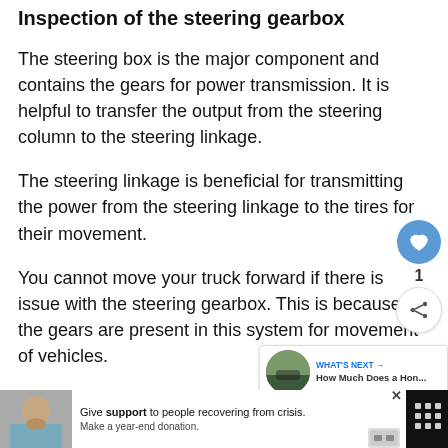Inspection of the steering gearbox
The steering box is the major component and contains the gears for power transmission. It is helpful to transfer the output from the steering column to the steering linkage.
The steering linkage is beneficial for transmitting the power from the steering linkage to the tires for their movement.
You cannot move your truck forward if there is issue with the steering gearbox. This is because the gears are present in this system for movement of vehicles.
[Figure (screenshot): Advertisement bar at the bottom: photo of person on left, white area with text 'Give support to people recovering from crisis. Make a year-end donation.' and a close button, dark right section.]